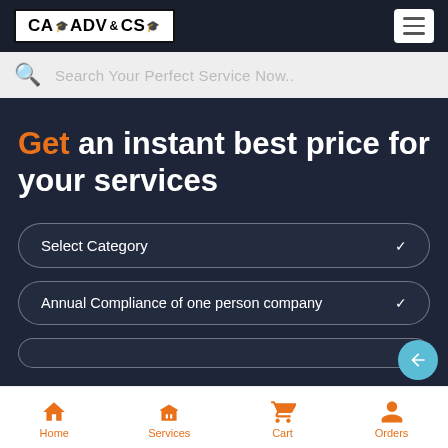CA ADV & CS
[Figure (screenshot): Search bar with magnifying glass icon and placeholder text 'Search Your Perfect Service Now..']
Get an instant best price for your services
[Figure (screenshot): Dropdown selector showing 'Select Category' with chevron]
[Figure (screenshot): Dropdown selector showing 'Annual Compliance of one person company' with chevron]
Home  Services  Cart  Orders